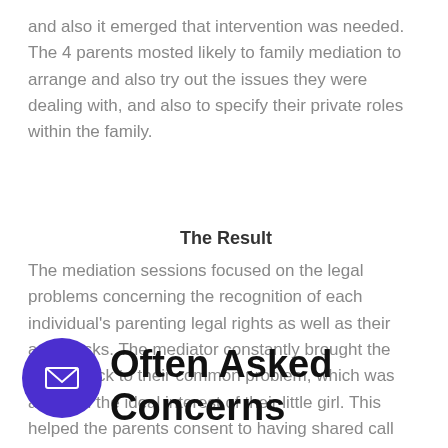and also it emerged that intervention was needed. The 4 parents mosted likely to family mediation to arrange and also try out the issues they were dealing with, and also to specify their private roles within the family.
The Result
The mediation sessions focused on the legal problems concerning the recognition of each individual's parenting legal rights as well as their adult tasks. The mediator constantly brought the adults back to their common problem, which was acting in the ideal interest of their little girl. This helped the parents consent to having shared call with the lady.
Often Asked Concerns